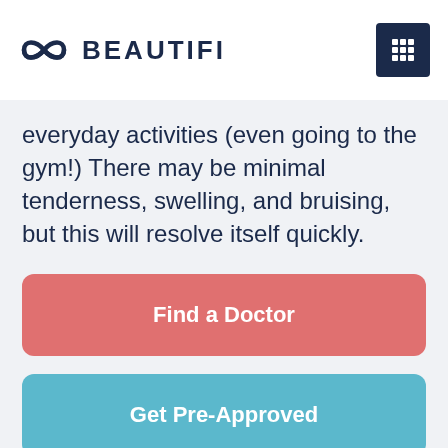BEAUTIFI
everyday activities (even going to the gym!) There may be minimal tenderness, swelling, and bruising, but this will resolve itself quickly.
Find a Doctor
Get Pre-Approved